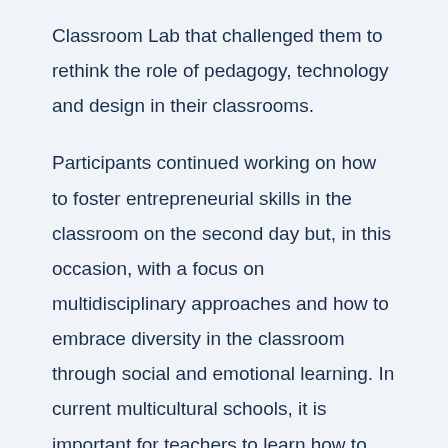Classroom Lab that challenged them to rethink the role of pedagogy, technology and design in their classrooms.
Participants continued working on how to foster entrepreneurial skills in the classroom on the second day but, in this occasion, with a focus on multidisciplinary approaches and how to embrace diversity in the classroom through social and emotional learning. In current multicultural schools, it is important for teachers to learn how to handle diversity, benefit from it and make their students aware of these benefits. Mentoring, leadership, conflict management, and